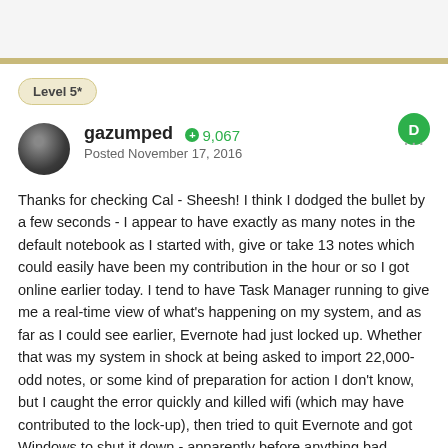Level 5*
gazumped  +9,067
Posted November 17, 2016
Thanks for checking Cal - Sheesh! I think I dodged the bullet by a few seconds - I appear to have exactly as many notes in the default notebook as I started with,  give or take 13 notes which could easily have been my contribution in the hour or so I got online earlier today.  I tend to have Task Manager running to give me a real-time view of what's happening on my system,  and as far as I could see earlier,  Evernote had just locked up.  Whether that was my system in shock at being asked to import 22,000-odd notes,  or some kind of preparation for action I don't know,  but I caught the error quickly and killed wifi (which may have contributed to the lock-up),  then tried to quit Evernote and got Windows to shut it down - apparently before anything bad happened.  I was very lucky though to catch it - in future I'll make a point of telling Windows users they should NOT keep exported notebooks lying around where they might get clicked